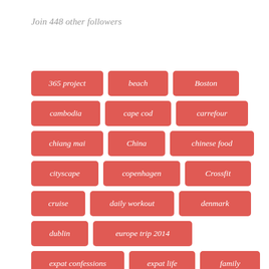Join 448 other followers
365 project
beach
Boston
cambodia
cape cod
carrefour
chiang mai
China
chinese food
cityscape
copenhagen
Crossfit
cruise
daily workout
denmark
dublin
europe trip 2014
expat confessions
expat life
family
fashion
fireworks
fitness
florida